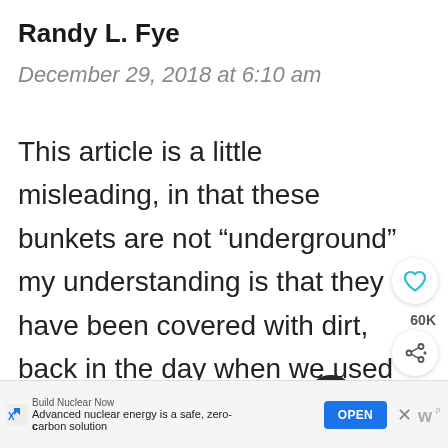Randy L. Fye
December 29, 2018 at 6:10 am
This article is a little misleading, in that these bunkets are not “underground” my understanding is that they have been covered with dirt, back in the day when we used to frequent these bunkers they were above ground
[Figure (other): Heart like button icon (teal/cyan outline heart)]
60K
[Figure (other): Share button icon]
WHAT'S NEXT → 31 Ruins and Abandoned...
Build Nuclear Now
Advanced nuclear energy is a safe, zero-carbon solution
OPEN